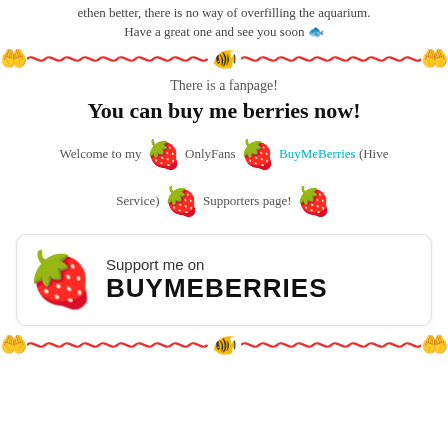ethen better, there is no way of overfilling the aquarium.
Have a great one and see you soon 🐟
[Figure (illustration): Decorative divider row with two hand-holding emoji on each side, red wavy lines, and a small blue fish/globe icon in the center]
There is a fanpage!
You can buy me berries now!
Welcome to my 🍓 OnlyFans 🍓 BuyMeBerries (Hive Service) 🍓 Supporters page! 🍓
[Figure (illustration): Promotional banner box with a large kawaii strawberry emoji on the left and text reading 'Support me on BUYMEBERRIES' on the right, inside a rounded rectangle border]
[Figure (illustration): Bottom decorative divider row with two hand-holding emoji on each side, red wavy lines, and a small blue fish/globe icon in the center]